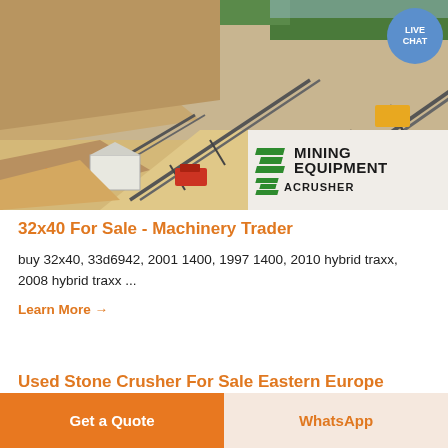[Figure (photo): Aerial photo of a mining/quarry site with conveyor belts, heavy equipment, and stockpiles of crushed stone. An overlay logo in the bottom-right corner reads 'MINING EQUIPMENT ACRUSHER' with green diagonal stripes. A circular 'LIVE CHAT' button appears in the top-right corner.]
32x40 For Sale - Machinery Trader
buy 32x40, 33d6942, 2001 1400, 1997 1400, 2010 hybrid traxx, 2008 hybrid traxx ...
Learn More →
Used Stone Crusher For Sale Eastern Europe
Get a Quote
WhatsApp